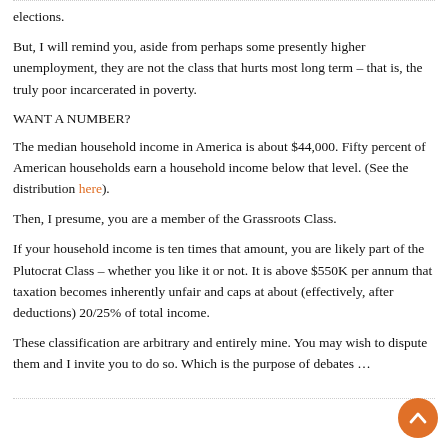elections.
But, I will remind you, aside from perhaps some presently higher unemployment, they are not the class that hurts most long term – that is, the truly poor incarcerated in poverty.
WANT A NUMBER?
The median household income in America is about $44,000. Fifty percent of American households earn a household income below that level. (See the distribution here).
Then, I presume, you are a member of the Grassroots Class.
If your household income is ten times that amount, you are likely part of the Plutocrat Class – whether you like it or not. It is above $550K per annum that taxation becomes inherently unfair and caps at about (effectively, after deductions) 20/25% of total income.
These classification are arbitrary and entirely mine. You may wish to dispute them and I invite you to do so. Which is the purpose of debates …